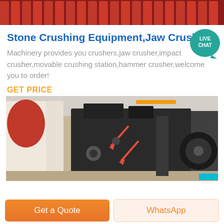[Figure (photo): Top banner showing red cylindrical rods/bars, industrial machinery parts]
Stone Crushing Equipment,Jaw Crusher,Im...
[Figure (illustration): Live Chat badge - teal circular badge with speech bubble and text LIVE CHAT]
Machinery provides you crushers,jaw crusher,impact crusher,movable crushing station,hammer crusher,welcome you to order!
GET PRICE
[Figure (photo): Large industrial jaw crusher machine in a factory/warehouse setting, dark gray machine with red accent arrows]
Get a Quote
WhatsApp